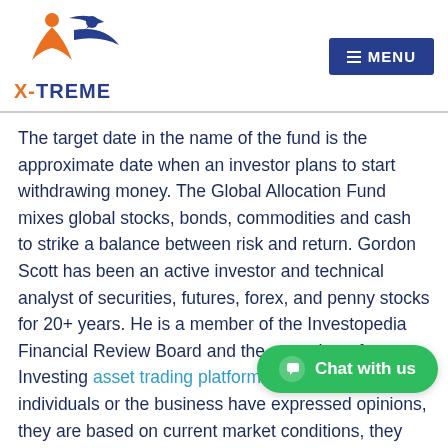X-TREME | MENU
The target date in the name of the fund is the approximate date when an investor plans to start withdrawing money. The Global Allocation Fund mixes global stocks, bonds, commodities and cash to strike a balance between risk and return. Gordon Scott has been an active investor and technical analyst of securities, futures, forex, and penny stocks for 20+ years. He is a member of the Investopedia Financial Review Board and the co-author of Investing asset trading platform to Win. Where individuals or the business have expressed opinions, they are based on current market conditions, they may differ from investment professionals and are without notice. The value of investments and any